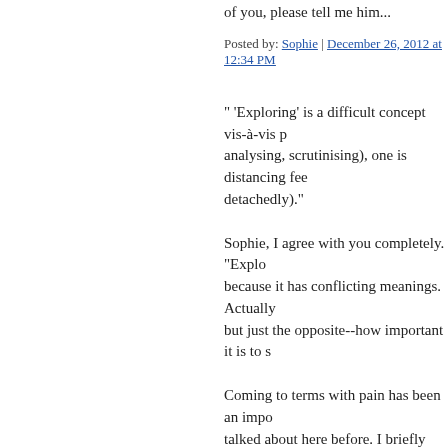Posted by: Sophie | December 26, 2012 at 12:34 PM
" 'Exploring' is a difficult concept vis-à-vis p... analysing, scrutinising), one is distancing fee... detachedly)."
Sophie, I agree with you completely. "Explo... because it has conflicting meanings. Actually... but just the opposite--how important it is to s...
Coming to terms with pain has been an impo... talked about here before. I briefly had a blog... you're interested, you can read it here :
http://www.brucesiegel.com/primal.html
Posted by: Bruce Siegel | December 26, 2012 at 03:...
Pain teaches the soul, which is pure thought,... like the 0's and 1's in a computer program, te... what it's like to occupy a body, to control it,... place where time and space don't exist, and v... once, so to be confined to a particular body i...